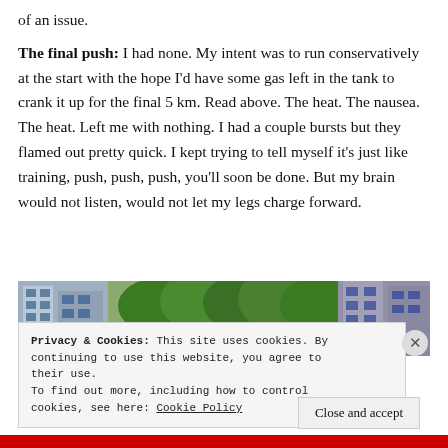of an issue.
The final push: I had none. My intent was to run conservatively at the start with the hope I'd have some gas left in the tank to crank it up for the final 5 km. Read above. The heat. The nausea. The heat. Left me with nothing. I had a couple bursts but they flamed out pretty quick. I kept trying to tell myself it's just like training, push, push, push, you'll soon be done. But my brain would not listen, would not let my legs charge forward.
[Figure (photo): Partial photo of urban street scene with buildings and trees]
Privacy & Cookies: This site uses cookies. By continuing to use this website, you agree to their use.
To find out more, including how to control cookies, see here: Cookie Policy
Close and accept